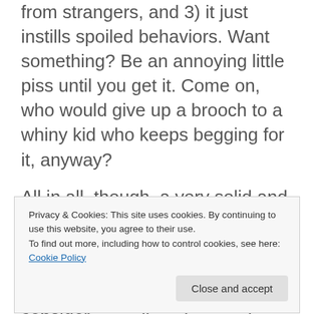from strangers, and 3) it just instills spoiled behaviors. Want something? Be an annoying little piss until you get it. Come on, who would give up a brooch to a whiny kid who keeps begging for it, anyway?

All in all, though, a very solid and creepy story, and I'm looking forward to what else YS5 has to offer. Being honest, I also appreciate that they seem to be using open endings less and less, and they seem
Privacy & Cookies: This site uses cookies. By continuing to use this website, you agree to their use.
To find out more, including how to control cookies, see here: Cookie Policy
help support my blog, please consider